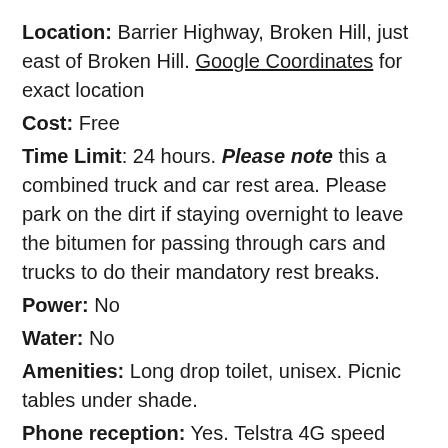Location: Barrier Highway, Broken Hill, just east of Broken Hill. Google Coordinates for exact location
Cost: Free
Time Limit: 24 hours. Please note this a combined truck and car rest area. Please park on the dirt if staying overnight to leave the bitumen for passing through cars and trucks to do their mandatory rest breaks.
Power: No
Water: No
Amenities: Long drop toilet, unisex. Picnic tables under shade.
Phone reception: Yes. Telstra 4G speed test: 40Mbps download / 20 Mbps upload.